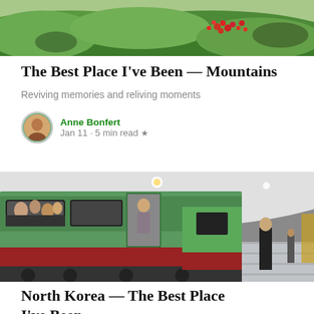[Figure (photo): Green mountain hillside with red flowering plants under an overcast sky]
The Best Place I've Been — Mountains
Reviving memories and reliving moments
Anne Bonfert
Jan 11 · 5 min read ★
[Figure (photo): A green and red subway train at a North Korean metro station platform with passengers boarding and a uniformed officer standing nearby]
North Korea — The Best Place I've Been